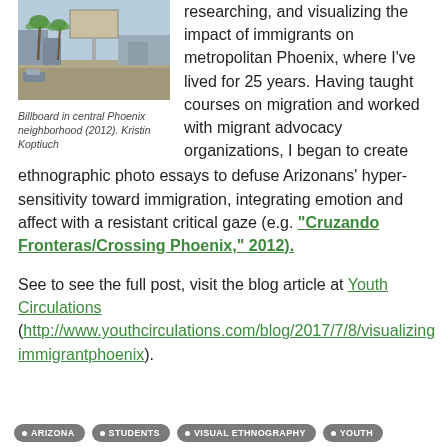[Figure (photo): Billboard in central Phoenix neighborhood with palm trees and urban street scene]
Billboard in central Phoenix neighborhood (2012). Kristin Koptiuch
researching, and visualizing the impact of immigrants on metropolitan Phoenix, where I've lived for 25 years. Having taught courses on migration and worked with migrant advocacy organizations, I began to create ethnographic photo essays to defuse Arizonans' hyper-sensitivity toward immigration, integrating emotion and affect with a resistant critical gaze (e.g. “Cruzando Fronteras/Crossing Phoenix,” 2012).
See to see the full post, visit the blog article at Youth Circulations (http://www.youthcirculations.com/blog/2017/7/8/visualizingimmigrantphoenix).
ARIZONA
STUDENTS
VISUAL ETHNOGRAPHY
YOUTH